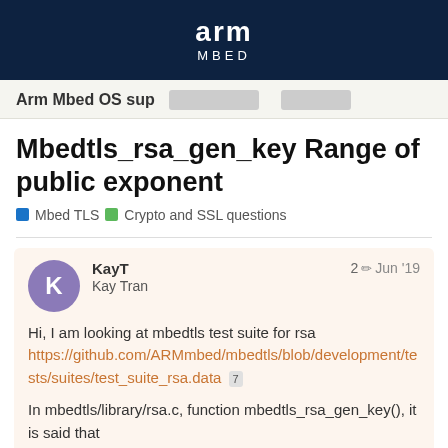[Figure (logo): Arm Mbed logo — white text 'arm' and 'MBED' on dark navy background]
Arm Mbed OS sup
Mbedtls_rsa_gen_key Range of public exponent
Mbed TLS   Crypto and SSL questions
KayT
Kay Tran
2 edits  Jun '19
Hi, I am looking at mbedtls test suite for rsa https://github.com/ARMmbed/mbedtls/blob/development/tests/suites/test_suite_rsa.data 7

In mbedtls/library/rsa.c, function mbedtls_rsa_gen_key(), it is said that